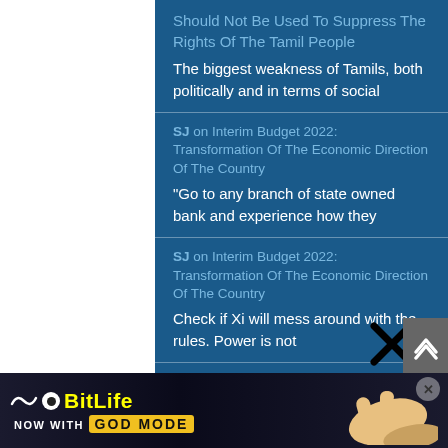Should Not Be Used To Suppress The Rights Of The Tamil People
The biggest weakness of Tamils, both politically and in terms of social
SJ on Interim Budget 2022: Transformation Of The Economic Direction Of The Country
"Go to any branch of state owned bank and experience how they
SJ on Interim Budget 2022: Transformation Of The Economic Direction Of The Country
Check if Xi will mess around with the rules. Power is not
SJ on Interim Budget 2022: Transformation Of The Economic Direction Of The Country
Sorry, We had not swung significantly before 1978. 1956 marked freeing the
[Figure (screenshot): BitLife advertisement banner: 'NOW WITH GOD MODE' with yellow text and hand pointing graphic]